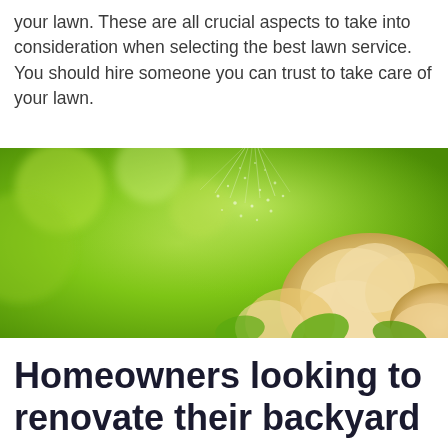your lawn. These are all crucial aspects to take into consideration when selecting the best lawn service. You should hire someone you can trust to take care of your lawn.
[Figure (photo): A close-up photo of pale peach/cream flowers being sprayed with water mist, set against a blurred bright green lawn and garden background.]
Homeowners looking to renovate their backyard should consider...